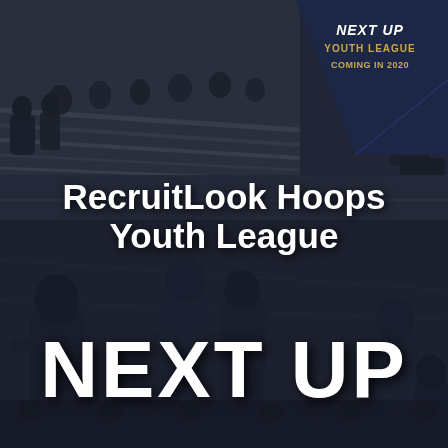[Figure (photo): Composite promotional image with grayscale basketball gym photos as background showing bleachers and players, with a dark navy inset graphic in the top right corner]
NEXT UP
YOUTH LEAGUE
COMING IN 2020
RecruitLook Hoops Youth League
NEXT UP